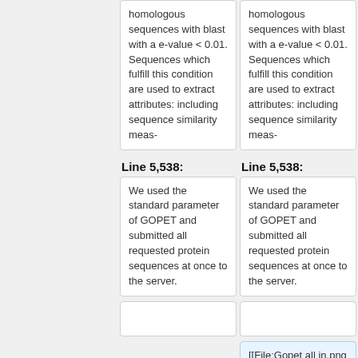homologous sequences with blast with a e-value < 0.01. Sequences which fulfill this condition are used to extract attributes: including sequence similarity meas-
homologous sequences with blast with a e-value < 0.01. Sequences which fulfill this condition are used to extract attributes: including sequence similarity meas-
Line 5,538:
Line 5,538:
We used the standard parameter of GOPET and submitted all requested protein sequences at once to the server.
We used the standard parameter of GOPET and submitted all requested protein sequences at once to the server.
[[File:Gopet all in.png |thumb|center| 800 px | '''Figure 29:''' A screenshot of the